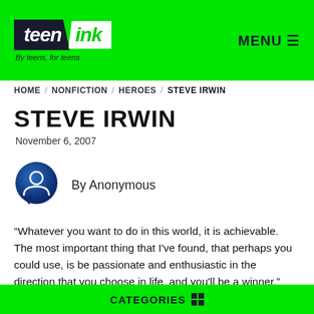[Figure (logo): Teen Ink logo with black 'teen' and green 'ink' on green background, tagline 'By teens, for teens']
MENU ≡
HOME / NONFICTION / HEROES / STEVE IRWIN
STEVE IRWIN
November 6, 2007
By Anonymous
“Whatever you want to do in this world, it is achievable. The most important thing that I've found, that perhaps you could use, is be passionate and enthusiastic in the direction that you choose in life, and you'll be a winner.”
CATEGORIES